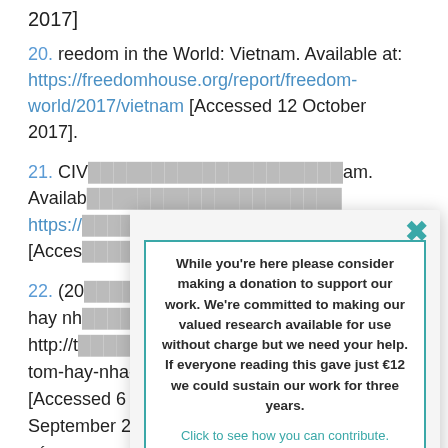2017]
20. reedom in the World: Vietnam. Available at: https://freedomhouse.org/report/freedom-world/2017/vietnam [Accessed 12 October 2017].
21. CIV... nam. Available... https://... [Accessed...
22. (20... tôm, hay nh... ole at: http://t... a-bat-tom-hay-nha-may-chon-di-1090468.htm [Accessed 6 September 2017] and (2016). 'Chọn sắt thép hay cá tôm?', Thanh Nien. Available at: http://thanhnien.vn/toi-viet/chon-sat-thep-hay-ca-tom-696089.html [Accessed 6 September 2017]
[Figure (screenshot): A popup dialog with a close (X) button in teal, containing a bordered box with text: 'While you're here please consider making a donation to support our work. We're committed to making our valued research available for use without charge but we need your help. If everyone reading this gave just €12 we could sustain our work for three years.' followed by a teal link 'Click to see how you can contribute.']